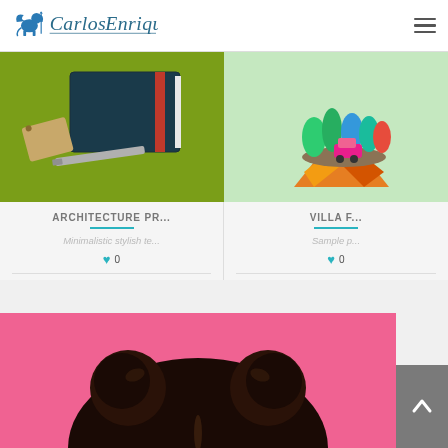Carlos Enrique — navigation header with logo and hamburger menu
[Figure (photo): Product flatlay photo: teal notebook with red band, silver card holder, kraft tag, on green background]
[Figure (illustration): Low-poly floating island illustration with colorful trees and a pink car, on light green background]
ARCHITECTURE PR...
Minimalistic stylish te...
♥ 0
VILLA F...
Sample p...
♥ 0
[Figure (photo): Back of head with dark hair in two bun updo hairstyle on pink background]
[Figure (other): Grey scroll-to-top button with upward chevron arrow]